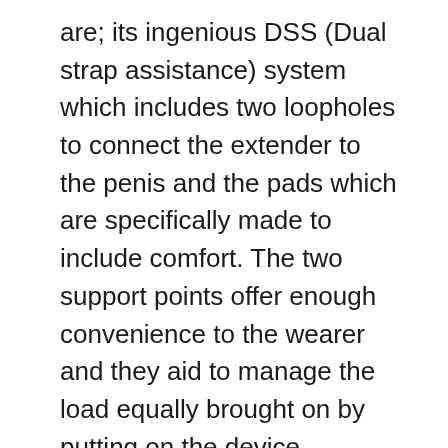are; its ingenious DSS (Dual strap assistance) system which includes two loopholes to connect the extender to the penis and the pads which are specifically made to include comfort. The two support points offer enough convenience to the wearer and they aid to manage the load equally brought on by putting on the device.
Mainly penis extenders only have solitary loophole or band, which makes it hassle-free for the penis to escape during using.
Tools with solitary loop or strap can not supply the anticipated results. With the silicone tubes, the penis remains in a much better placement as well as the stress is kept properly. These functions make the Quick